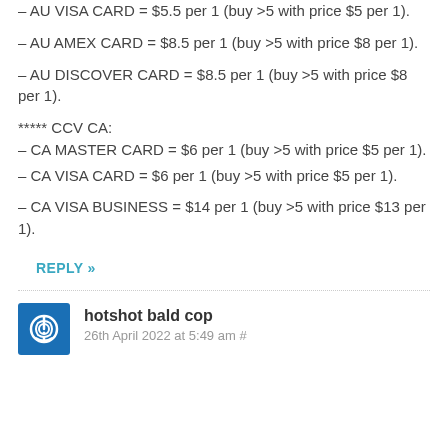– AU VISA CARD = $5.5 per 1 (buy >5 with price $5 per 1).
– AU AMEX CARD = $8.5 per 1 (buy >5 with price $8 per 1).
– AU DISCOVER CARD = $8.5 per 1 (buy >5 with price $8 per 1).
***** CCV CA:
– CA MASTER CARD = $6 per 1 (buy >5 with price $5 per 1).
– CA VISA CARD = $6 per 1 (buy >5 with price $5 per 1).
– CA VISA BUSINESS = $14 per 1 (buy >5 with price $13 per 1).
REPLY »
hotshot bald cop
26th April 2022 at 5:49 am #